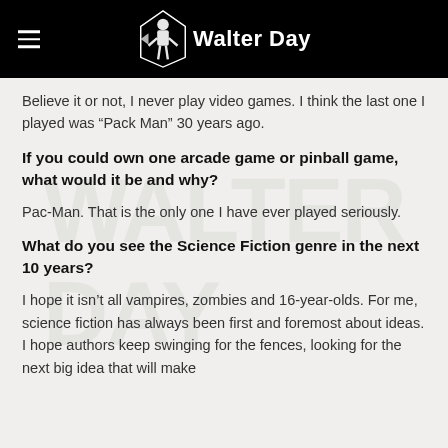Walter Day
Believe it or not, I never play video games. I think the last one I played was “Pack Man” 30 years ago.
If you could own one arcade game or pinball game, what would it be and why?
Pac-Man. That is the only one I have ever played seriously.
What do you see the Science Fiction genre in the next 10 years?
I hope it isn’t all vampires, zombies and 16-year-olds. For me, science fiction has always been first and foremost about ideas. I hope authors keep swinging for the fences, looking for the next big idea that will make